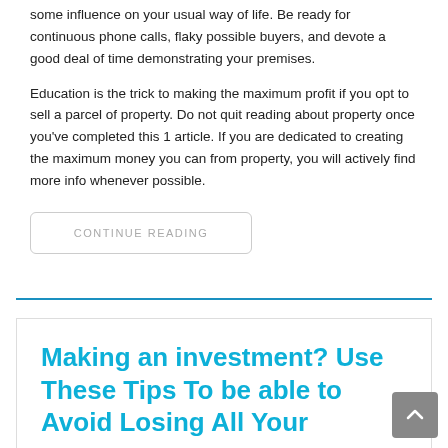some influence on your usual way of life. Be ready for continuous phone calls, flaky possible buyers, and devote a good deal of time demonstrating your premises.
Education is the trick to making the maximum profit if you opt to sell a parcel of property. Do not quit reading about property once you've completed this 1 article. If you are dedicated to creating the maximum money you can from property, you will actively find more info whenever possible.
CONTINUE READING
Making an investment? Use These Tips To be able to Avoid Losing All Your